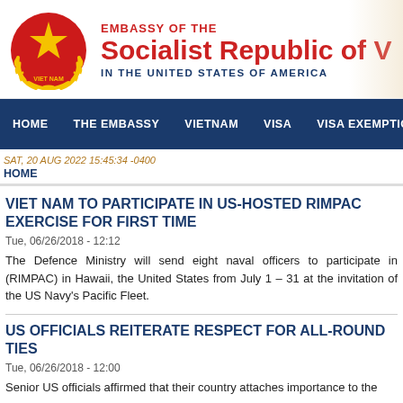[Figure (logo): Embassy of the Socialist Republic of Vietnam header with national emblem (red circle with gold star and wreath) on the left, and text 'EMBASSY OF THE Socialist Republic of V[ietnam] IN THE UNITED STATES OF AMERICA' on the right]
HOME   THE EMBASSY   VIETNAM   VISA   VISA EXEMPTION   CONSULAR
SAT, 20 AUG 2022 15:45:34 -0400
HOME
VIET NAM TO PARTICIPATE IN US-HOSTED RIMPAC EXER[CISE] FOR FIRST TIME
Tue, 06/26/2018 - 12:12
The Defence Ministry will send eight naval officers to participate in [RIMPAC] (RIMPAC) in Hawaii, the United States from July 1 – 31 at the invitatio[n of the US] Navy's Pacific Fleet.
US OFFICIALS REITERATE RESPECT FOR ALL-ROUND T[IES]
Tue, 06/26/2018 - 12:00
Senior US officials affirmed that their country attaches importance to th[e]